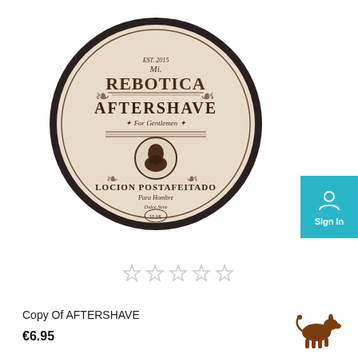[Figure (photo): Round tin of Mr. Rebotica Aftershave product with vintage label showing 'AFTERSHAVE For Gentlemen' and 'LOCION POSTAFEITADO Para Hombre']
[Figure (screenshot): Teal Sign In button with person/account icon]
[Figure (other): Five empty/unfilled grey star rating icons]
Copy Of AFTERSHAVE
€6.95
[Figure (logo): Brown donkey logo icon in bottom right corner]